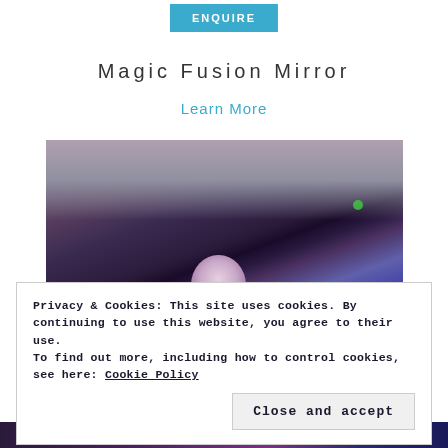ENQUIRE
Magic Fusion Mirror
Learn More
[Figure (photo): Photo of a Magic Fusion Mirror device mounted on a stand, showing a spherical light element and a teal/green circular rim, taken in a dark venue with blue lighting on the ceiling]
Privacy & Cookies: This site uses cookies. By continuing to use this website, you agree to their use.
To find out more, including how to control cookies, see here: Cookie Policy
Close and accept